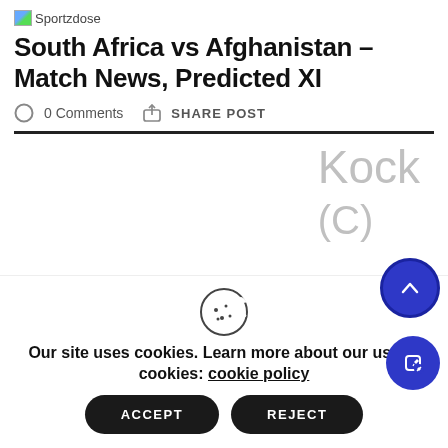Sportzdose
South Africa vs Afghanistan – Match News, Predicted XI
0 Comments   SHARE POST
Kock (C)
B
a
Our site uses cookies. Learn more about our use of cookies: cookie policy
ACCEPT
REJECT